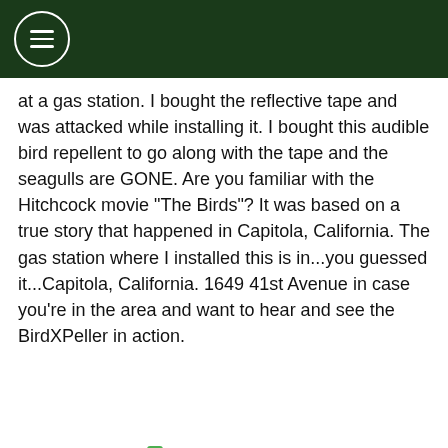[Navigation menu icon]
at a gas station. I bought the reflective tape and was attacked while installing it. I bought this audible bird repellent to go along with the tape and the seagulls are GONE. Are you familiar with the Hitchcock movie "The Birds"? It was based on a true story that happened in Capitola, California. The gas station where I installed this is in...you guessed it...Capitola, California. 1649 41st Avenue in case you're in the area and want to hear and see the BirdXPeller in action.
Male, 50  Verified
★★★★★
GET 10% OFF
very effective
Free shipping for orders over $99.00!